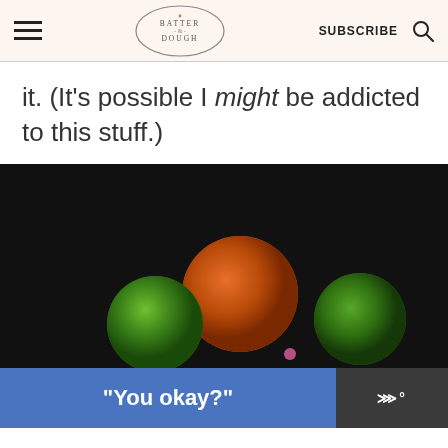Batter & Dough — SUBSCRIBE
it. (It's possible I might be addicted to this stuff.)
[Figure (photo): Dark background photo of a bowl with limes, oranges, and a sliced orange in the foreground]
“You okay?”